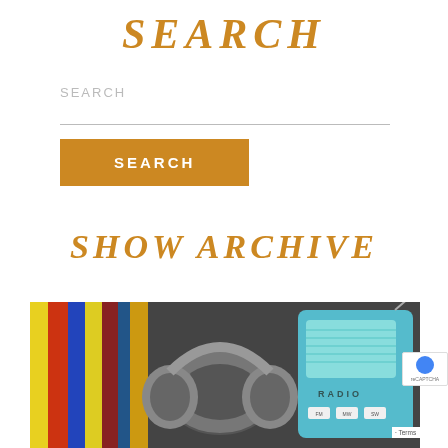SEARCH
[Figure (screenshot): Search input field with placeholder text 'SEARCH' and an orange SEARCH button below it]
SHOW ARCHIVE
[Figure (photo): Photo showing vinyl record covers stacked on left, grey headphones in the middle resting on records, and a retro teal/turquoise radio labeled RADIO on the right]